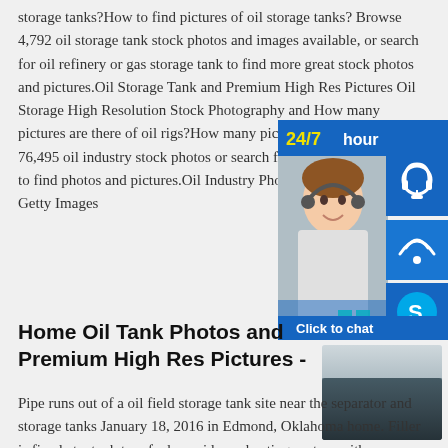storage tanks?How to find pictures of oil storage tanks? Browse 4,792 oil storage tank stock photos and images available, or search for oil refinery or gas storage tank to find more great stock photos and pictures.Oil Storage Tank and Premium High Res Pictures Oil Storage High Resolution Stock Photography and How many pictures are there of oil rigs?How many pictures are there Browse 76,495 oil industry stock photos or search for oil and gas or oil rig to find photos and pictures.Oil Industry Photos High Res Pictures - Getty Images
[Figure (photo): Customer service chat widget with 24/7 hour label, person wearing headset, icons for headset, phone, and Skype, and Click to chat button]
Home Oil Tank Photos and Premium High Res Pictures -
[Figure (photo): Dark blue oil storage tanks against sky]
Pipe runs out of a oil field storage tank site near the separator and storage tanks January 18, 2016 in Edmond, Oklahoma home. Filler is fixed at a tank to refuel a residence heating system with